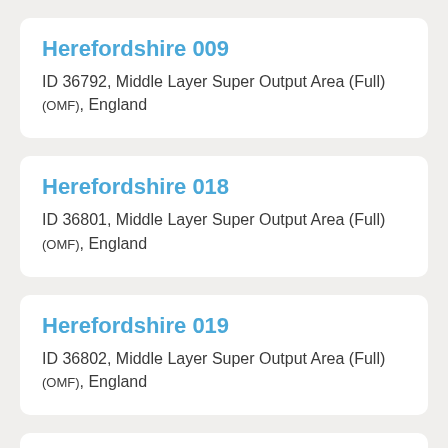Herefordshire 009
ID 36792, Middle Layer Super Output Area (Full) (OMF), England
Herefordshire 018
ID 36801, Middle Layer Super Output Area (Full) (OMF), England
Herefordshire 019
ID 36802, Middle Layer Super Output Area (Full) (OMF), England
Forest of Dean 001